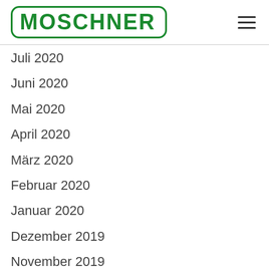[Figure (logo): Moschner company logo in green with rounded rectangle border]
Juli 2020
Juni 2020
Mai 2020
April 2020
März 2020
Februar 2020
Januar 2020
Dezember 2019
November 2019
Oktober 2019
September 2019
August 2019